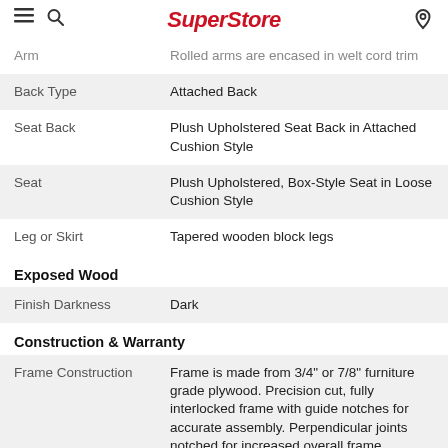SuperStore
| Attribute | Value |
| --- | --- |
| Arm | Rolled arms are encased in welt cord trim |
| Back Type | Attached Back |
| Seat Back | Plush Upholstered Seat Back in Attached Cushion Style |
| Seat | Plush Upholstered, Box-Style Seat in Loose Cushion Style |
| Leg or Skirt | Tapered wooden block legs |
| Exposed Wood |  |
| Finish Darkness | Dark |
| Construction & Warranty |  |
| Frame Construction | Frame is made from 3/4" or 7/8" furniture grade plywood. Precision cut, fully interlocked frame with guide notches for accurate assembly. Perpendicular joints notched for increased overall frame strength. |